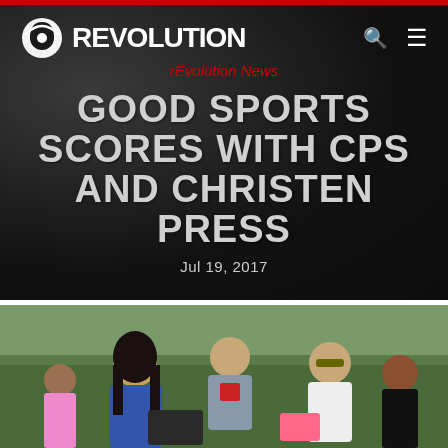rEvolution
rEvolution News
GOOD SPORTS SCORES WITH CPS AND CHRISTEN PRESS
Jul 19, 2017
[Figure (photo): Photo of a woman with long dark hair in a blue shirt signing autographs or distributing items to a group of children and people outdoors, with a man in a Red Stars shirt visible in the background]